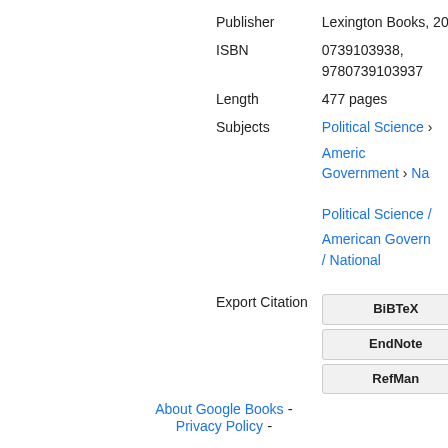| Publisher | Lexington Books, 2003 |
| ISBN | 0739103938, 9780739103937 |
| Length | 477 pages |
| Subjects | Political Science › American Government › Na…

Political Science / American Government / National |
Export Citation
BiBTeX
EndNote
RefMan
About Google Books - Privacy Policy -